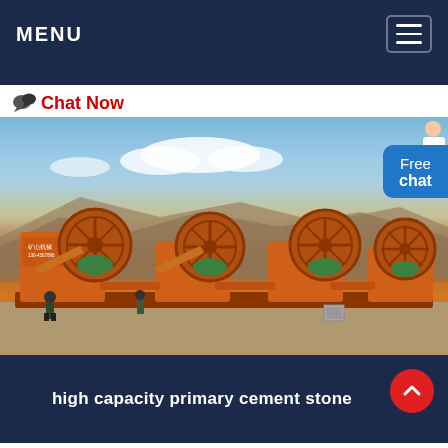MENU
Chat Now
[Figure (photo): Industrial orange sand washing / spiral wheel machines (4 units) lined up outdoors at a quarry site with rocky hills and blue sky in the background. Workers visible near the machines.]
high capacity primary cement stone